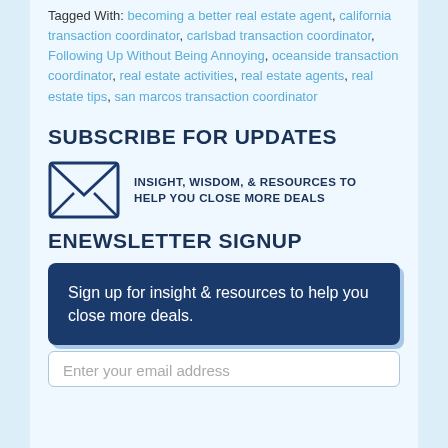Tagged With: becoming a better real estate agent, california transaction coordinator, carlsbad transaction coordinator, Following Up Without Being Annoying, oceanside transaction coordinator, real estate activities, real estate agents, real estate tips, san marcos transaction coordinator
SUBSCRIBE FOR UPDATES
[Figure (illustration): Envelope/mail icon with text: INSIGHT, WISDOM, & RESOURCES TO HELP YOU CLOSE MORE DEALS]
ENEWSLETTER SIGNUP
Sign up for insight & resources to help you close more deals.
Enter your email address